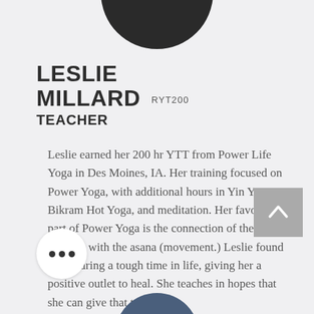[Figure (photo): Partial profile photo of Leslie Millard at top of page, circular crop, dark clothing]
LESLIE MILLARD RYT200
TEACHER
Leslie earned her 200 hr YTT from Power Life Yoga in Des Moines, IA. Her training focused on Power Yoga, with additional hours in Yin Yoga, Bikram Hot Yoga, and meditation. Her favorite part of Power Yoga is the connection of the prana (breath) with the asana (movement.) Leslie found yoga during a tough time in life, giving her a positive outlet to heal. She teaches in hopes that she can give that to others.
[Figure (other): Grey scroll-to-top button with upward chevron arrow]
[Figure (other): White circular more options button with three dots]
[Figure (photo): Partial profile photo at bottom of page, circular crop, blue/navy clothing]